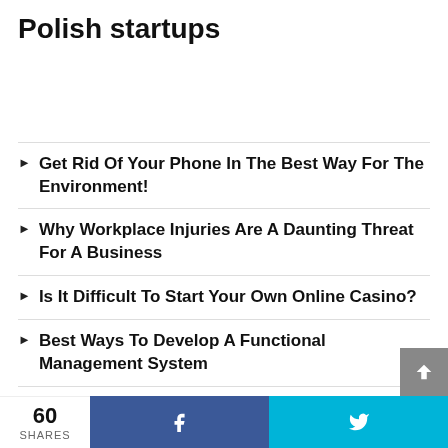Polish startups
Get Rid Of Your Phone In The Best Way For The Environment!
Why Workplace Injuries Are A Daunting Threat For A Business
Is It Difficult To Start Your Own Online Casino?
Best Ways To Develop A Functional Management System
Fetch Rewards Review
60 SHARES